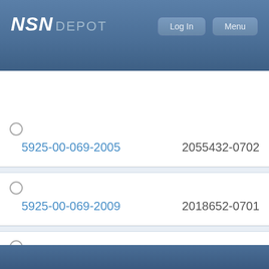NSN DEPOT
5925-00-069-2005  2055432-0702
5925-00-069-2009  2018652-0701
5925-00-069-2046  2058347-0701